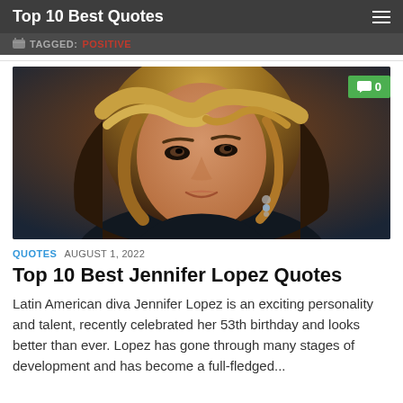Top 10 Best Quotes
TAGGED: POSITIVE
[Figure (photo): Portrait photo of Jennifer Lopez with blonde wavy hair, wearing earrings, with a green comment badge showing '0' in top right corner]
QUOTES  AUGUST 1, 2022
Top 10 Best Jennifer Lopez Quotes
Latin American diva Jennifer Lopez is an exciting personality and talent, recently celebrated her 53th birthday and looks better than ever. Lopez has gone through many stages of development and has become a full-fledged...